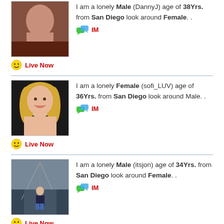I am a lonely Male (DannyJ) age of 38Yrs. from San Diego look around Female. .
[Figure (photo): Profile photo of DannyJ, male]
Live Now  IM
I am a lonely Female (sofi_LUV) age of 36Yrs. from San Diego look around Male. .
[Figure (photo): Profile photo of sofi_LUV, female with blonde hair]
Live Now  IM
I am a lonely Male (itsjon) age of 34Yrs. from San Diego look around Female. .
[Figure (photo): Profile photo of itsjon, male outdoors]
Live Now  IM